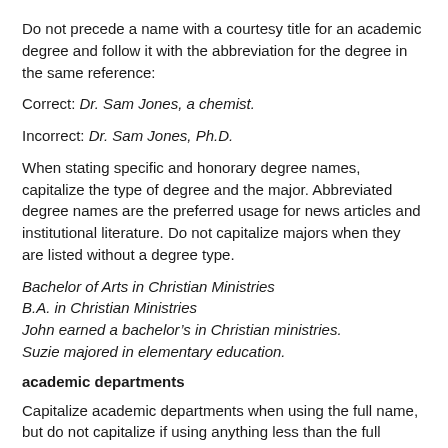Do not precede a name with a courtesy title for an academic degree and follow it with the abbreviation for the degree in the same reference:
Correct: Dr. Sam Jones, a chemist.
Incorrect: Dr. Sam Jones, Ph.D.
When stating specific and honorary degree names, capitalize the type of degree and the major. Abbreviated degree names are the preferred usage for news articles and institutional literature. Do not capitalize majors when they are listed without a degree type.
Bachelor of Arts in Christian Ministries
B.A. in Christian Ministries
John earned a bachelor’s in Christian ministries.
Suzie majored in elementary education.
academic departments
Capitalize academic departments when using the full name, but do not capitalize if using anything less than the full name. Also,